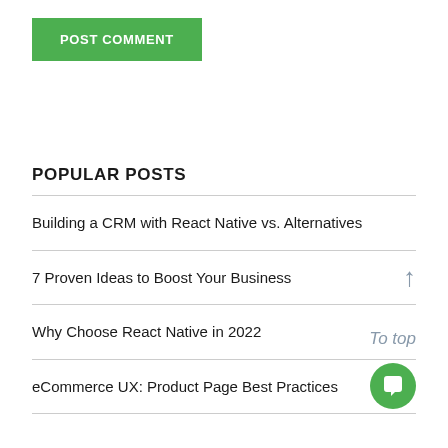POST COMMENT
POPULAR POSTS
Building a CRM with React Native vs. Alternatives
7 Proven Ideas to Boost Your Business
Why Choose React Native in 2022
eCommerce UX: Product Page Best Practices